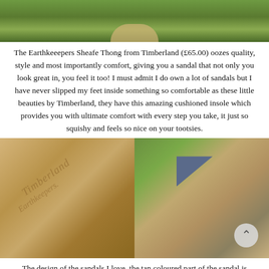[Figure (photo): Top portion of a Timberland Earthkeepers Sheafe Thong sandal photographed on grass, partially cropped at top]
The Earthkeeepers Sheafe Thong from Timberland (£65.00) oozes quality, style and most importantly comfort, giving you a sandal that not only you look great in, you feel it too! I must admit I do own a lot of sandals but I have never slipped my feet inside something so comfortable as these little beauties by Timberland, they have this amazing cushioned insole which provides you with ultimate comfort with every step you take, it just so squishy and feels so nice on your tootsies.
[Figure (photo): Two side-by-side photos: left shows the insole of a Timberland Earthkeepers sandal with embossed branding; right shows the strap detail of the sandal against a grassy background with a scroll-up button overlay]
The design of the sandals I love, the tan coloured part of the sandal is made with real leather and it alike...